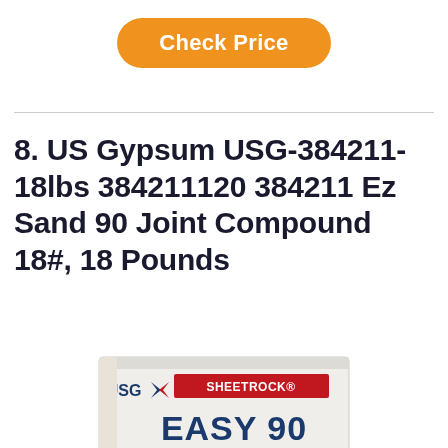Check Price
8. US Gypsum USG-384211-18lbs 384211120 384211 Ez Sand 90 Joint Compound 18#, 18 Pounds
[Figure (photo): Photo of USG Sheetrock Easy 90 joint compound bag packaging, white bag with red and blue USG logo and SHEETROCK brand text, showing EASY 90 in large text.]